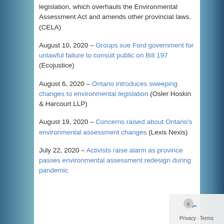legislation, which overhauls the Environmental Assessment Act and amends other provincial laws. (CELA)
August 10, 2020 – Groups sue Ford government for unlawful failure to consult public on Bill 197 (Ecojustice)
August 6, 2020 – Ontario introduces sweeping changes to environmental legislation (Osler Hoskin & Harcourt LLP)
August 19, 2020 – Concerns raised about Ontario's environmental assessment changes (Lexis Nexis)
July 22, 2020 – Activists raise alarm as province passes environmental assessment redesign during pandemic